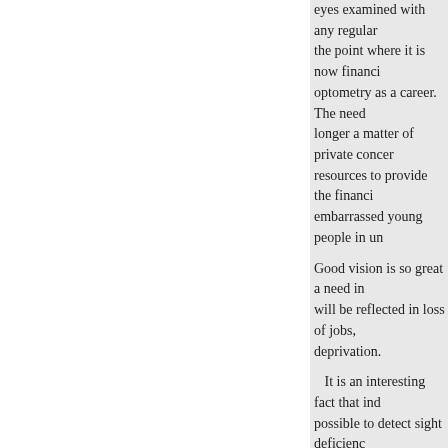eyes examined with any regular the point where it is now financi optometry as a career. The need longer a matter of private concer resources to provide the financi embarrassed young people in un
Good vision is so great a need in will be reflected in loss of jobs, deprivation.
It is an interesting fact that ind possible to detect sight deficienc situation which emphasizes even optometrists.
The vision care needs of the peo adequate supply of new optomet requisite steady, adequate supply
Because of these facts which I ha am pleased to note for the record director, Andrew F. Fischer, O.D favorable consideration of this b hearings.
« Previous